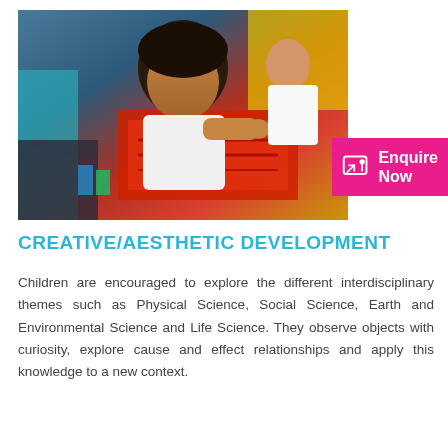[Figure (photo): A young child playing with a red toy at a colorful classroom table, with another child visible in the background.]
Enquire Now
CREATIVE/AESTHETIC DEVELOPMENT
Children are encouraged to explore the different interdisciplinary themes such as Physical Science, Social Science, Earth and Environmental Science and Life Science. They observe objects with curiosity, explore cause and effect relationships and apply this knowledge to a new context.